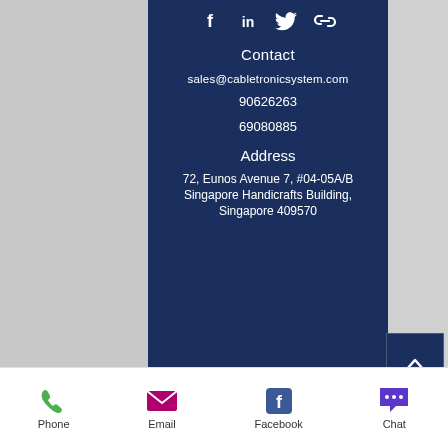[Figure (infographic): Social media share icons: Facebook (f), LinkedIn (in), Twitter, and link/chain icon — white on dark blue background]
Contact
sales@cabletronicsystem.com
90626263
69080885
Address
72, Eunos Avenue 7, #04-05A/B Singapore Handicrafts Building, Singapore 409570
[Figure (infographic): Bottom navigation bar with Phone (green), Email (pink/magenta), Facebook (blue), Chat (purple) icons and labels]